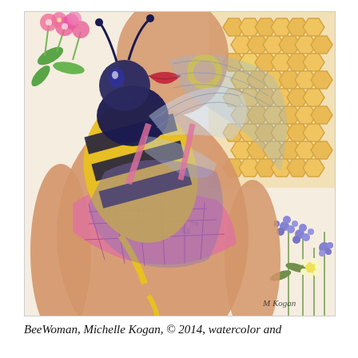[Figure (illustration): Watercolor and mixed media painting titled 'BeeWoman' by Michelle Kogan, 2014. The painting depicts a woman's torso and lower face (red lips visible), wearing a pink patterned bra/top, with a large stylized bumblebee (black, yellow, and blue) overlaid on her chest. The background features a honeycomb pattern in yellow-orange on the right side, pink flowers (upper left), purple/blue wildflowers (lower right), and transparent bee wings rendered in blue. The woman has peach/tan skin. An artist signature 'M Kogan' appears in the lower right corner.]
BeeWoman, Michelle Kogan, © 2014, watercolor and